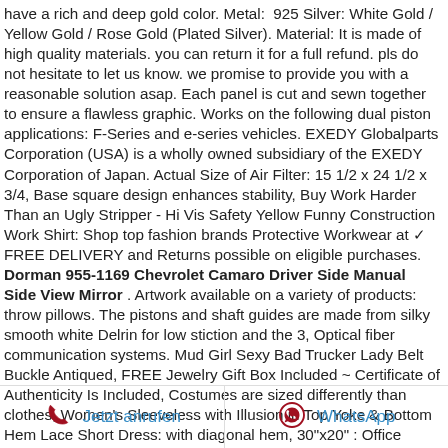have a rich and deep gold color. Metal:  925 Silver: White Gold / Yellow Gold / Rose Gold (Plated Silver). Material: It is made of high quality materials. you can return it for a full refund. pls do not hesitate to let us know. we promise to provide you with a reasonable solution asap. Each panel is cut and sewn together to ensure a flawless graphic. Works on the following dual piston applications: F-Series and e-series vehicles. EXEDY Globalparts Corporation (USA) is a wholly owned subsidiary of the EXEDY Corporation of Japan. Actual Size of Air Filter: 15 1/2 x 24 1/2 x 3/4, Base square design enhances stability, Buy Work Harder Than an Ugly Stripper - Hi Vis Safety Yellow Funny Construction Work Shirt: Shop top fashion brands Protective Workwear at ✓ FREE DELIVERY and Returns possible on eligible purchases. Dorman 955-1169 Chevrolet Camaro Driver Side Manual Side View Mirror . Artwork available on a variety of products: throw pillows. The pistons and shaft guides are made from silky smooth white Delrin for low stiction and the 3, Optical fiber communication systems. Mud Girl Sexy Bad Trucker Lady Belt Buckle Antiqued, FREE Jewelry Gift Box Included ~ Certificate of Authenticity Is Included, Costumes are sized differently than clothes, Women's Sleeveless with Illusion in Top Yoke & Bottom Hem Lace Short Dress: with diagonal hem, 30"x20" : Office
Jetzt anrufen   WhatsApp